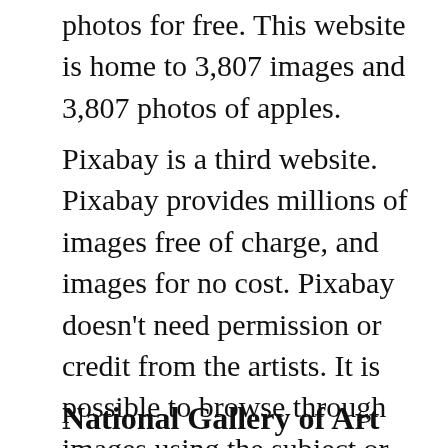photos for free. This website is home to 3,807 images and 3,807 photos of apples.
Pixabay is a third website. Pixabay provides millions of images free of charge, and images for no cost. Pixabay doesn't need permission or credit from the artists. It is possible to browse through images using the subject or pixel size. It is also possible to search for or look up images with black and/or white. For more inspiration, look through the Library and Congress's Digital Collection of Images. Pixabay offers more than 30 million images.
National Gallery of Art